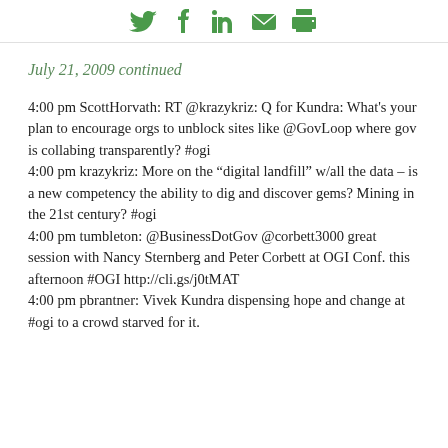[Social media share icons: Twitter, Facebook, LinkedIn, Email, Print]
July 21, 2009 continued
4:00 pm ScottHorvath: RT @krazykriz: Q for Kundra: What’s your plan to encourage orgs to unblock sites like @GovLoop where gov is collabing transparently? #ogi
4:00 pm krazykriz: More on the “digital landfill” w/all the data – is a new competency the ability to dig and discover gems? Mining in the 21st century? #ogi
4:00 pm tumbleton: @BusinessDotGov @corbett3000 great session with Nancy Sternberg and Peter Corbett at OGI Conf. this afternoon #OGI http://cli.gs/j0tMAT
4:00 pm pbrantner: Vivek Kundra dispensing hope and change at #ogi to a crowd starved for it.